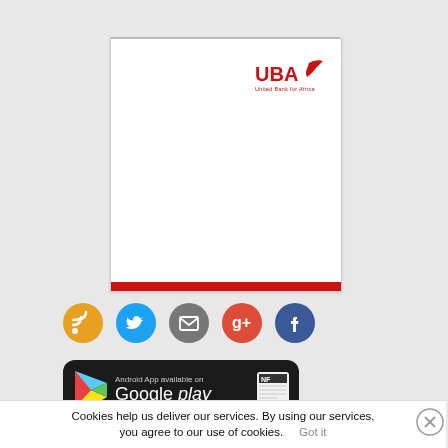[Figure (logo): UBA (United Bank for Africa) logo in red with stylized bird icon]
[Figure (infographic): Social media icons row: RSS (orange), Twitter (blue), Email (grey), Google+ (red), Facebook (blue)]
[Figure (infographic): Google Play Android App banner with play icon and NF newspaper icon. Text: Android App available on Google play]
Cookies help us deliver our services. By using our services, you agree to our use of cookies.    Got it